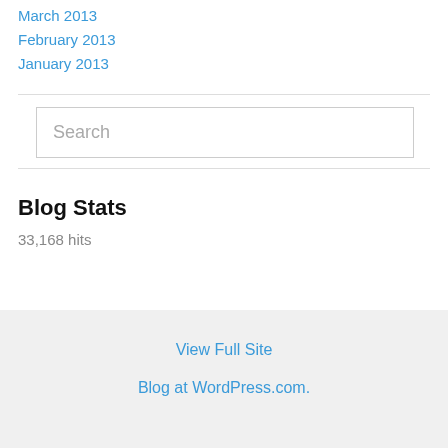March 2013
February 2013
January 2013
Search
Blog Stats
33,168 hits
View Full Site
Blog at WordPress.com.